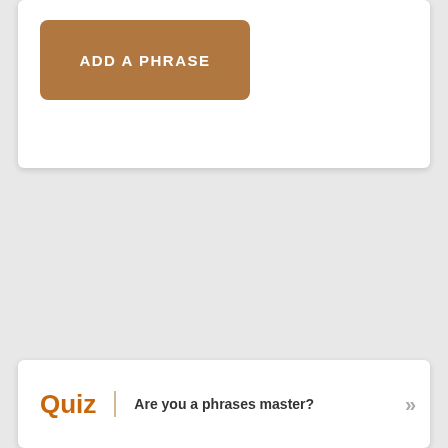[Figure (screenshot): Brown rounded button labeled ADD A PHRASE on a white card]
ADD A PHRASE
[Figure (screenshot): Quiz section card with orange Quiz label, dotted divider, and text 'Are you a phrases master?' with chevron arrows]
Quiz  Are you a phrases master?  »